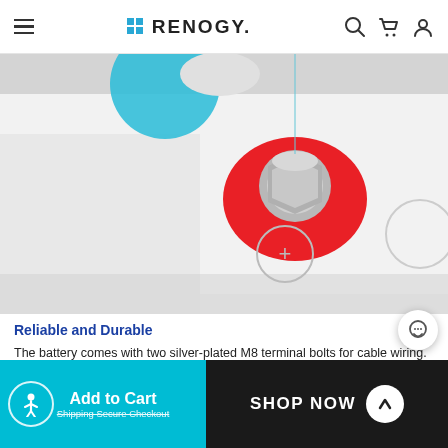RENOGY
[Figure (photo): Close-up product photo of a white battery terminal with a silver-plated M8 hex bolt on a red circular marker, showing the positive terminal of a Renogy LiFePO4 battery.]
Reliable and Durable
The battery comes with two silver-plated M8 terminal bolts for cable wiring. And there are positive (+) and negative (-) icons on the container for easy wiring identification.